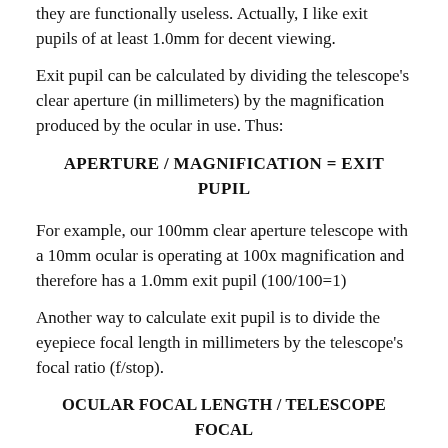they are functionally useless. Actually, I like exit pupils of at least 1.0mm for decent viewing.
Exit pupil can be calculated by dividing the telescope's clear aperture (in millimeters) by the magnification produced by the ocular in use. Thus:
For example, our 100mm clear aperture telescope with a 10mm ocular is operating at 100x magnification and therefore has a 1.0mm exit pupil (100/100=1)
Another way to calculate exit pupil is to divide the eyepiece focal length in millimeters by the telescope's focal ratio (f/stop).
Thus, a 10mm ocular in our f/10 (100mm clear aperture